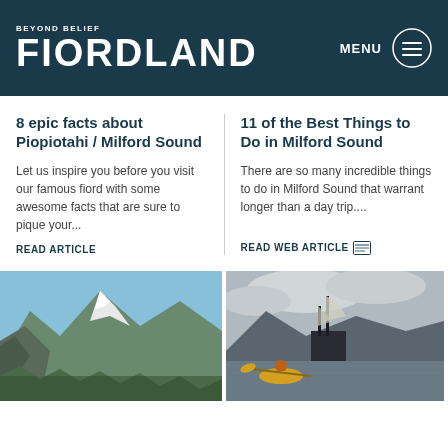BEYOND BELIEF FIORDLAND — MENU
8 epic facts about Piopiotahi / Milford Sound
Let us inspire you before you visit our famous fiord with some awesome facts that are sure to pique your...
READ ARTICLE
11 of the Best Things to Do in Milford Sound
There are so many incredible things to do in Milford Sound that warrant longer than a day trip....
READ WEB ARTICLE
[Figure (photo): Snow-capped mountain fiord landscape with rocky cliffs and blue sky]
[Figure (photo): Person kayaking in yellow kayak with tall sailing ship and mountains in background]